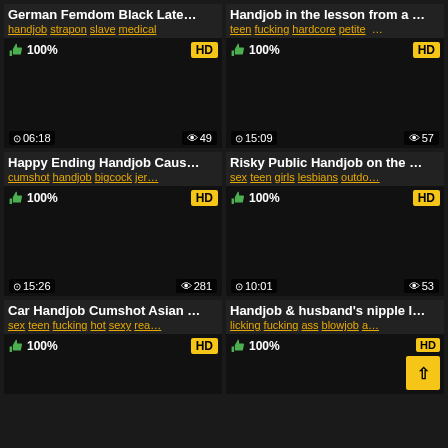[Figure (screenshot): Video thumbnail grid showing adult video listings with titles, tags, HD badges, like percentages, durations, and view counts]
German Femdom Black Late...
handjob strapon slave medical
100% | HD | 06:18 | 49 views
Handjob in the lesson from a ...
teen fucking hardcore petite ...
100% | HD | 15:09 | 57 views
Happy Ending Handjob Caus...
cumshot handjob bigcock jer...
100% | HD | 15:26 | 281 views
Risky Public Handjob on the ...
sex teen girls lesbians outdo...
100% | HD | 10:01 | 53 views
Car Handjob Cumshot Asian ...
sex teen fucking hot sexy rea...
100% | HD
Handjob & husband's nipple l...
licking fucking ass blowjob a...
100% | HD